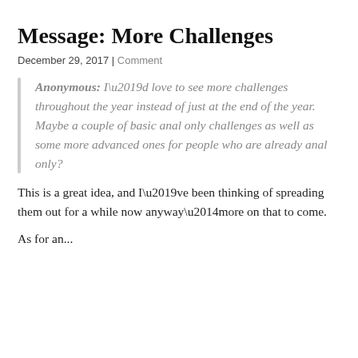Message: More Challenges
December 29, 2017 | Comment
Anonymous: I’d love to see more challenges throughout the year instead of just at the end of the year. Maybe a couple of basic anal only challenges as well as some more advanced ones for people who are already anal only?
This is a great idea, and I’ve been thinking of spreading them out for a while now anyway—more on that to come.
As for an...